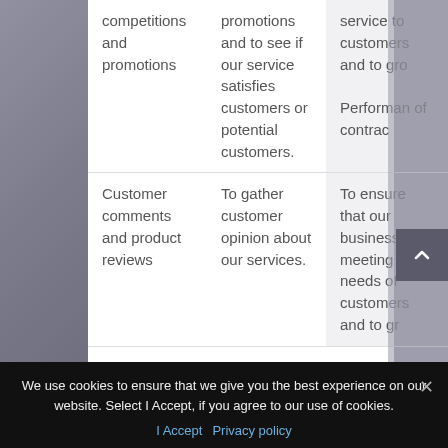| Activity/Data | Purpose | Lawful Basis |
| --- | --- | --- |
| competitions and promotions | promotions and to see if our service satisfies customers or potential customers. | service to customers and to gro… |
| Customer comments and product reviews | To gather customer opinion about our services. | To ensure that our business is meeting the needs of customers and to gr… |
We use cookies to ensure that we give you the best experience on our website. Select I Accept, if you agree to our use of cookies.
I Accept  Privacy policy